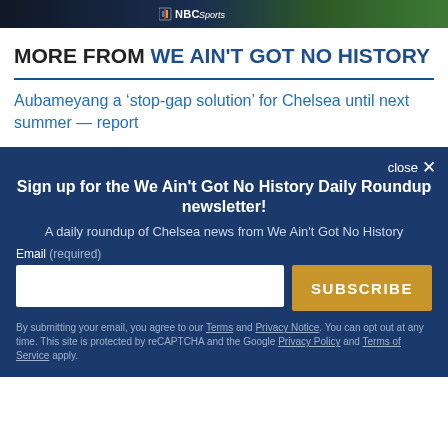[Figure (screenshot): NBC Sports banner advertisement with NBC Sports logo on dark blue background and green grass/soccer field on right]
MORE FROM WE AIN'T GOT NO HISTORY
Aubameyang a ‘stop-gap solution’ for Chelsea until next summer — report
Sign up for the We Ain't Got No History Daily Roundup newsletter!
A daily roundup of Chelsea news from We Ain't Got No History
Email (required)
SUBSCRIBE
By submitting your email, you agree to our Terms and Privacy Notice. You can opt out at any time. This site is protected by reCAPTCHA and the Google Privacy Policy and Terms of Service apply.